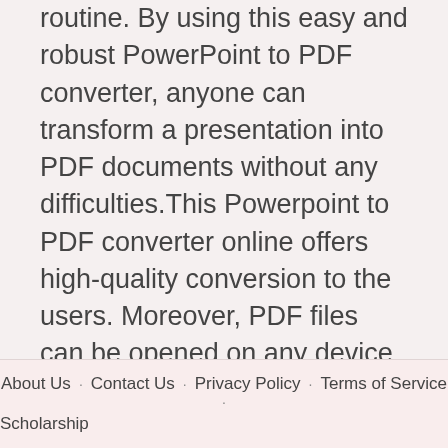routine. By using this easy and robust PowerPoint to PDF converter, anyone can transform a presentation into PDF documents without any difficulties.This Powerpoint to PDF converter online offers high-quality conversion to the users. Moreover, PDF files can be opened on any device which makes them extremely versatile. So, go ahead and use this handy tool to convert and save PowerPoint as PDF. This PPTx to PDF converter is an easy way out to transform your PPT files into a Portable Document ..
About Us · Contact Us · Privacy Policy · Terms of Service · Scholarship